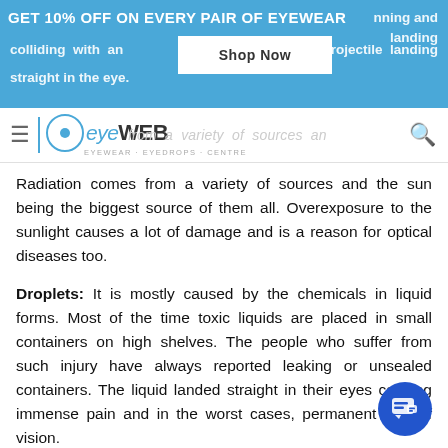GET 10% OFF ON EVERY PAIR OF EYEWEAR  Shop Now
[Figure (logo): EyeWeb logo with hamburger menu icon and search icon in navigation bar]
Radiation comes from a variety of sources and the sun being the biggest source of them all. Overexposure to the sunlight causes a lot of damage and is a reason for optical diseases too.
Droplets: It is mostly caused by the chemicals in liquid forms. Most of the time toxic liquids are placed in small containers on high shelves. The people who suffer from such injury have always reported leaking or unsealed containers. The liquid landed straight in their eyes causing immense pain and in the worst cases, permanent loss of vision.
Dust: Farmers, carpenters, and laborers are most affected by dust. Any tiny particle that is